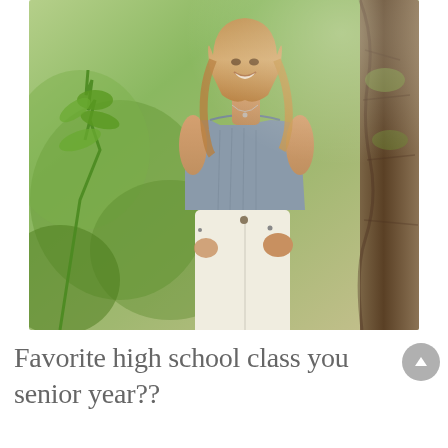[Figure (photo): A smiling young woman with long blonde hair, wearing a gray crop top and white high-waisted pants, leaning against a tree in an outdoor natural setting with green foliage in the background. Senior portrait photo.]
Favorite high school class you senior year??